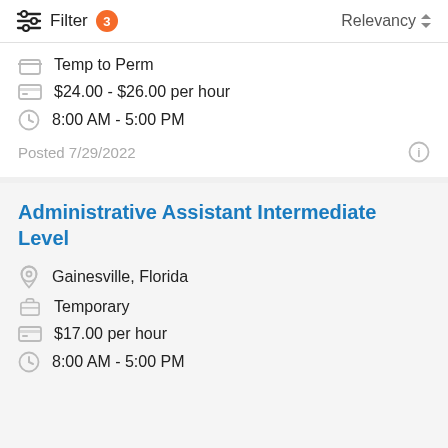Filter 3   Relevancy
Temp to Perm
$24.00 - $26.00 per hour
8:00 AM - 5:00 PM
Posted 7/29/2022
Administrative Assistant Intermediate Level
Gainesville, Florida
Temporary
$17.00 per hour
8:00 AM - 5:00 PM